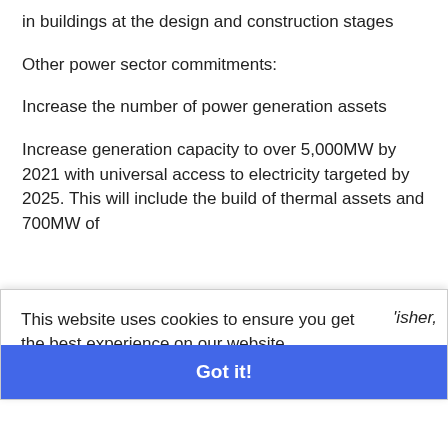in buildings at the design and construction stages
Other power sector commitments:
Increase the number of power generation assets
Increase generation capacity to over 5,000MW by 2021 with universal access to electricity targeted by 2025. This will include the build of thermal assets and 700MW of
This website uses cookies to ensure you get the best experience on our website.
Learn more
Got it!